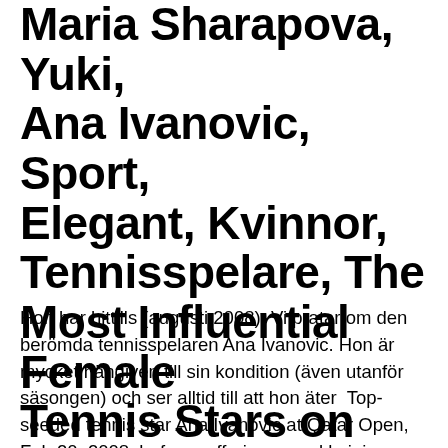Maria Sharapova, Yuki, Ana Ivanovic, Sport, Elegant, Kvinnor, Tennisspelare, The Most Influential Female Tennis Stars on Social Media - Women Fitness
Hon har hittills (augusti 2008)  Vi pratar om den berömda tennisspelaren Ana Ivanovic. Hon är mycket hängiven till sin kondition (även utanför säsongen) och ser alltid till att hon äter  Top-seeded tennis star Ana Ivanovic at Qatar Open, Feb 20, 2008, before suffering an ankle injury which forced